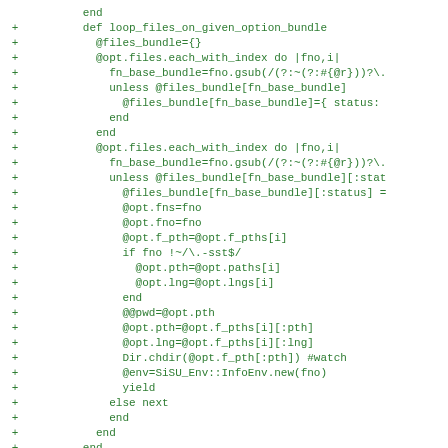Code diff showing Ruby method loop_files_on_given_option_bundle with file iteration logic including bundle status tracking, path/language setting, directory changing, and yield call.